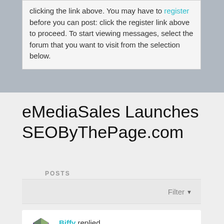clicking the link above. You may have to register before you can post: click the register link above to proceed. To start viewing messages, select the forum that you want to visit from the selection below.
eMediaSales Launches SEOByThePage.com
POSTS
Filter ▾
Biffy replied
04-26-08, 05:59 AM
Re: eMediaSales Launches SEOByThePage.com